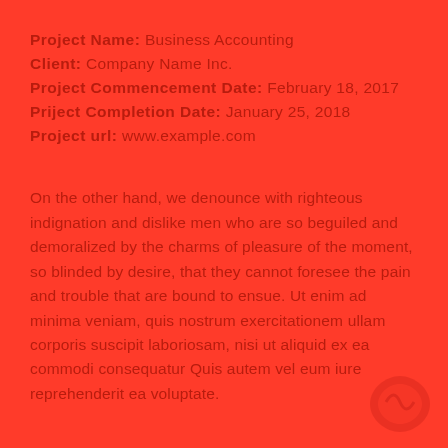Project Name: Business Accounting
Client: Company Name Inc.
Project Commencement Date: February 18, 2017
Priject Completion Date: January 25, 2018
Project url: www.example.com
On the other hand, we denounce with righteous indignation and dislike men who are so beguiled and demoralized by the charms of pleasure of the moment, so blinded by desire, that they cannot foresee the pain and trouble that are bound to ensue. Ut enim ad minima veniam, quis nostrum exercitationem ullam corporis suscipit laboriosam, nisi ut aliquid ex ea commodi consequatur Quis autem vel eum iure reprehenderit ea voluptate.